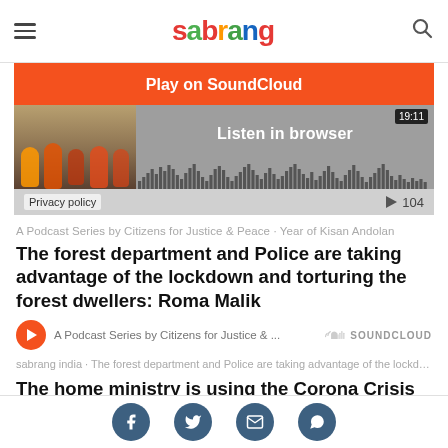sabrang
[Figure (screenshot): SoundCloud embed player showing 'Play on SoundCloud' orange button, 'Listen in browser' text, waveform visualization, time 19:11, play count 104, and a thumbnail of people sitting together. Privacy policy link shown.]
A Podcast Series by Citizens for Justice & Peace · Year of Kisan Andolan
The forest department and Police are taking advantage of the lockdown and torturing the forest dwellers: Roma Malik
A Podcast Series by Citizens for Justice & ...  SOUNDCLOUD
sabrang india · The forest department and Police are taking advantage of the lockdo...
The home ministry is using the Corona Crisis to
Social share icons: Facebook, Twitter, Email, WhatsApp